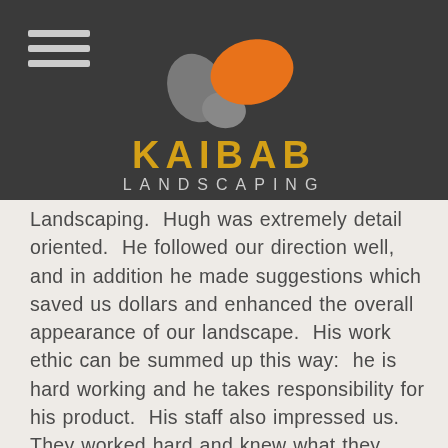[Figure (logo): Kaibab Landscaping logo with orange and grey stone/pebble shapes above the text KAIBAB in gold/yellow and LANDSCAPING in light grey, on a dark charcoal background. A hamburger menu icon appears in the top left.]
Landscaping.  Hugh was extremely detail oriented.  He followed our direction well, and in addition he made suggestions which saved us dollars and enhanced the overall appearance of our landscape.  His work ethic can be summed up this way:  he is hard working and he takes responsibility for his product.  His staff also impressed us.  They worked hard and knew what they were doing.  Very important too, the communication between the